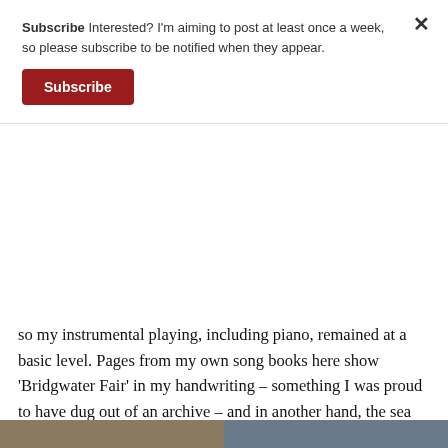Subscribe Interested? I'm aiming to post at least once a week, so please subscribe to be notified when they appear.
Subscribe
so my instrumental playing, including piano, remained at a basic level. Pages from my own song books here show 'Bridgwater Fair' in my handwriting – something I was proud to have dug out of an archive – and in another hand, the sea shanty 'Sally Free and Easy', which was often sung by Cyril Tawney. This was followed by 'The Nightvisiting Song' which I expect one of the Munstermen wrote out for me (see below). There's a version of it sung by Luke Kelly on the YouTube link below.
[Figure (photo): Two partial photographs visible at bottom of page, left image appears warmer toned, right image appears cooler toned]